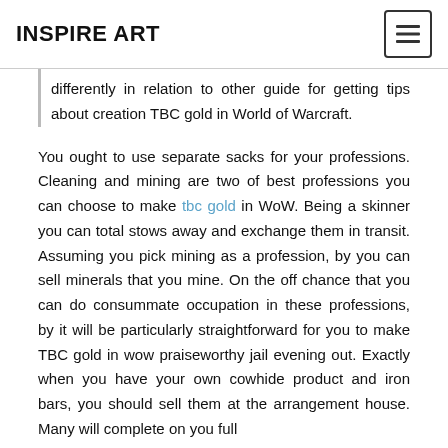INSPIRE ART
differently in relation to other guide for getting tips about creation TBC gold in World of Warcraft.
You ought to use separate sacks for your professions. Cleaning and mining are two of best professions you can choose to make tbc gold in WoW. Being a skinner you can total stows away and exchange them in transit. Assuming you pick mining as a profession, by you can sell minerals that you mine. On the off chance that you can do consummate occupation in these professions, by it will be particularly straightforward for you to make TBC gold in wow praiseworthy jail evening out. Exactly when you have your own cowhide product and iron bars, you should sell them at the arrangement house. Many will complete on you full